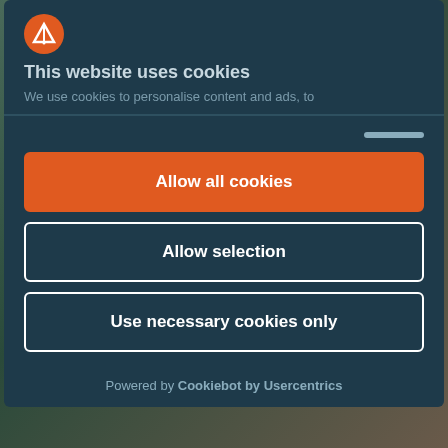[Figure (screenshot): Cookie consent modal dialog on a website showing cyclists in the background. The modal has a dark navy background with an orange logo icon, title text, description, and three buttons.]
This website uses cookies
We use cookies to personalise content and ads, to
Allow all cookies
Allow selection
Use necessary cookies only
Powered by Cookiebot by Usercentrics